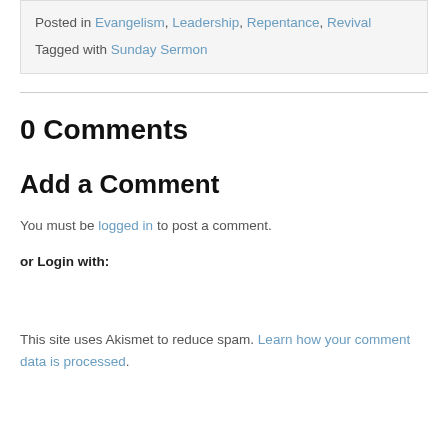Posted in Evangelism, Leadership, Repentance, Revival
Tagged with Sunday Sermon
0 Comments
Add a Comment
You must be logged in to post a comment.
or Login with:
This site uses Akismet to reduce spam. Learn how your comment data is processed.